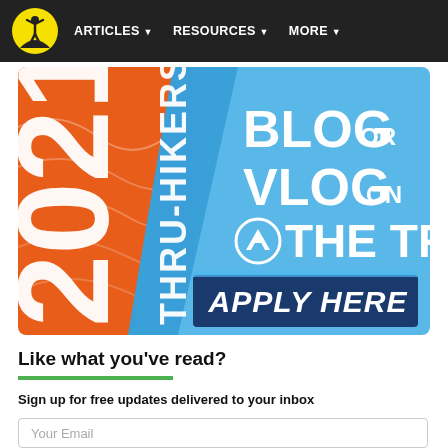ARTICLES  RESOURCES  MORE
[Figure (illustration): Promotional banner for The Trek website recruiting 2021 thru-hikers to blog or vlog. Left side is orange with topographic lines and text '2021 THRU-HIKERS.' in white diagonal text. Right side is blue with 'BLOG OR VLOG ON THE TREK' in white bold text and a mountain logo icon. Bottom right has a dark blue button reading 'APPLY HERE' in white italic bold text.]
Like what you've read?
Sign up for free updates delivered to your inbox